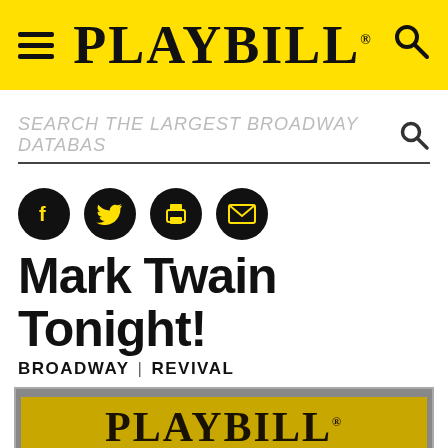PLAYBILL
SEARCH THE LARGEST BROADWAY DATABASE
[Figure (other): Social media icons row: Facebook, Twitter, Print, Email — black circles with white icons]
Mark Twain Tonight!
BROADWAY | REVIVAL
[Figure (logo): Playbill program cover image showing PLAYBILL logo in dark yellow on grey background]